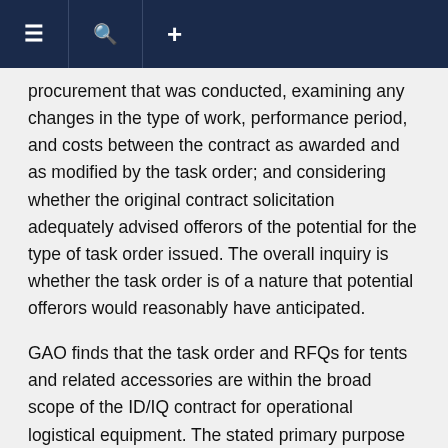≡ 🔍 +
procurement that was conducted, examining any changes in the type of work, performance period, and costs between the contract as awarded and as modified by the task order; and considering whether the original contract solicitation adequately advised offerors of the potential for the type of task order issued. The overall inquiry is whether the task order is of a nature that potential offerors would reasonably have anticipated.
GAO finds that the task order and RFQs for tents and related accessories are within the broad scope of the ID/IQ contract for operational logistical equipment. The stated primary purpose of the contract is to provide all equipment necessary for special